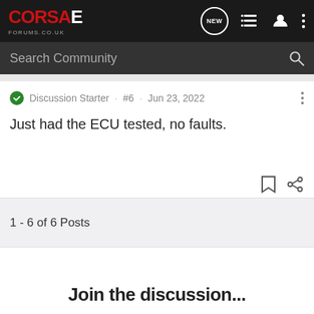CORSAE FORUMS.CO.UK
Search Community
Discussion Starter · #6 · Jun 23, 2022
Just had the ECU tested, no faults.
1 - 6 of 6 Posts
Join the discussion...